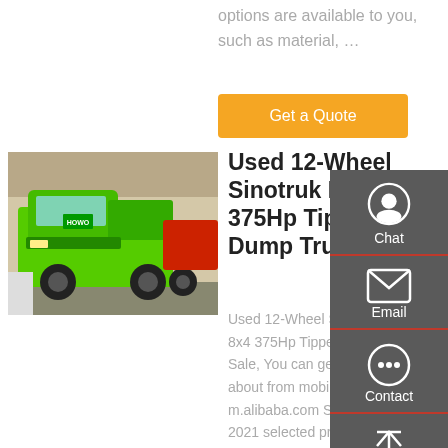options are available to you, such as material, …
Get a Quote
[Figure (photo): Green Sinotruk Howo dump truck on a showroom floor]
Used 12-Wheel Sinotruk Howo 8x4 375Hp Tipper Dump Truck
Used 12-Wheel Sinotruk Howo 8x4 375Hp Tipper Dump Truck For Sale, You can get more details about from mobile site m.alibaba.com Super September 2021 selected products $9,880.00